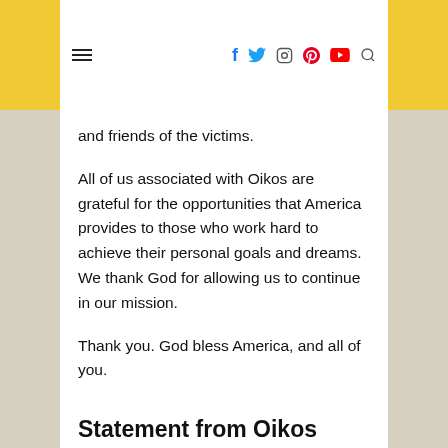≡  f  t  (instagram)  (pinterest)  (youtube)  (search)
and friends of the victims.
All of us associated with Oikos are grateful for the opportunities that America provides to those who work hard to achieve their personal goals and dreams. We thank God for allowing us to continue in our mission.
Thank you. God bless America, and all of you.
Statement from Oikos University, April 6, 2012